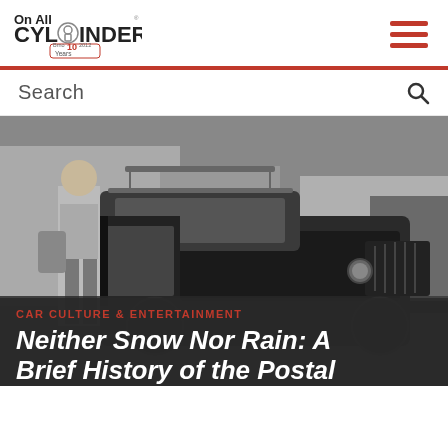On All Cylinders - 10 Years logo and navigation
Search
[Figure (photo): Black and white photograph of a postal worker stepping out of a Jeep mail delivery vehicle. The Jeep has a distinctive boxy cab and flat nose typical of USPS mail Jeeps from mid-20th century. The setting appears to be a suburban street.]
CAR CULTURE & ENTERTAINMENT
Neither Snow Nor Rain: A Brief History of the Postal